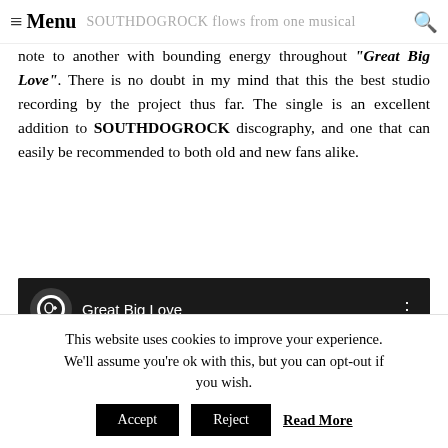Menu | SOUTHDOGROCK flows from one musical
note to another with bounding energy throughout "Great Big Love". There is no doubt in my mind that this the best studio recording by the project thus far. The single is an excellent addition to SOUTHDOGROCK discography, and one that can easily be recommended to both old and new fans alike.
[Figure (screenshot): YouTube video embed showing 'Great Big Love' with a red play button on a dark background, with a channel logo on the upper left and three-dot menu on the upper right.]
This website uses cookies to improve your experience. We'll assume you're ok with this, but you can opt-out if you wish. Accept Reject Read More